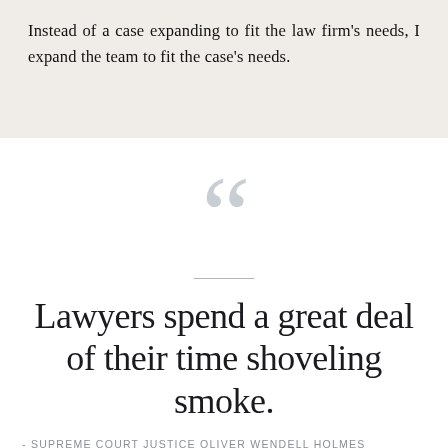Instead of a case expanding to fit the law firm's needs, I expand the team to fit the case's needs.
Lawyers spend a great deal of their time shoveling smoke.
- SUPREME COURT JUSTICE OLIVER WENDELL HOLMES